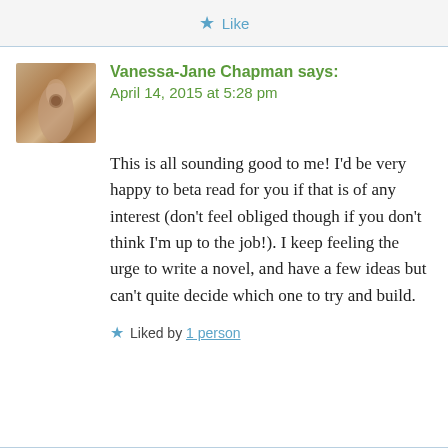★ Like
Vanessa-Jane Chapman says:
April 14, 2015 at 5:28 pm
This is all sounding good to me! I'd be very happy to beta read for you if that is of any interest (don't feel obliged though if you don't think I'm up to the job!). I keep feeling the urge to write a novel, and have a few ideas but can't quite decide which one to try and build.
Liked by 1 person